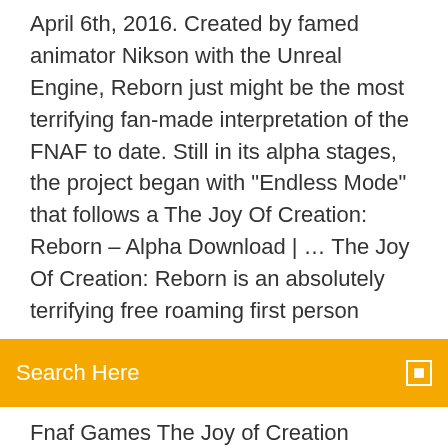April 6th, 2016. Created by famed animator Nikson with the Unreal Engine, Reborn just might be the most terrifying fan-made interpretation of the FNAF to date. Still in its alpha stages, the project began with "Endless Mode" that follows a The Joy Of Creation: Reborn – Alpha Download | … The Joy Of Creation: Reborn is an absolutely terrifying free roaming first person
Search Here
Fnaf Games The Joy of Creation DEMO – This version still contains some bugs and little features. Use W to switch forward, right click to turn on the flashlight. Download Now. You are trapped in a creepy house where you have to protect yourself from every attack of strange creatures lurking in the shadow. It is also the mission of you when you play FNAF The Joy of Creation. Although their screams used
the joy of creation reborn online demo - pc games …
A list of characters and animatronics who appear in The Joy of